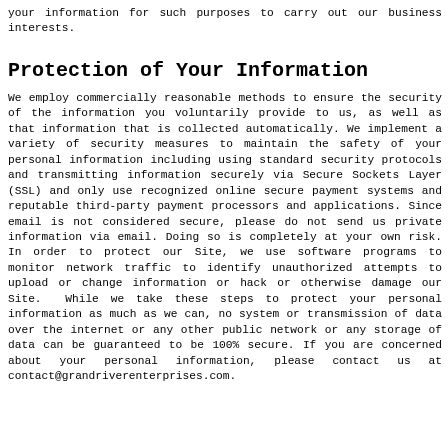your information for such purposes to carry out our business interests.
Protection of Your Information
We employ commercially reasonable methods to ensure the security of the information you voluntarily provide to us, as well as that information that is collected automatically. We implement a variety of security measures to maintain the safety of your personal information including using standard security protocols and transmitting information securely via Secure Sockets Layer (SSL) and only use recognized online secure payment systems and reputable third-party payment processors and applications. Since email is not considered secure, please do not send us private information via email. Doing so is completely at your own risk. In order to protect our Site, we use software programs to monitor network traffic to identify unauthorized attempts to upload or change information or hack or otherwise damage our Site.  While we take these steps to protect your personal information as much as we can, no system or transmission of data over the internet or any other public network or any storage of data can be guaranteed to be 100% secure. If you are concerned about your personal information, please contact us at contact@grandriverenterprises.com.